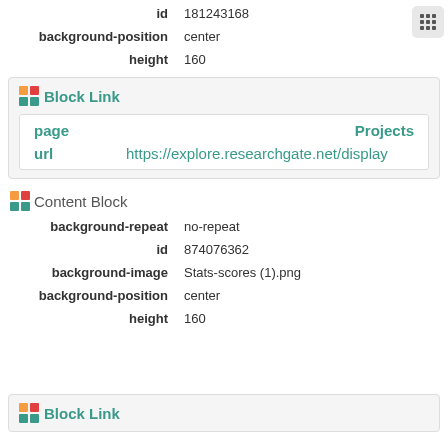| property | value |
| --- | --- |
| id | 181243168 |
| background-position | center |
| height | 160 |
Block Link
| property | value |
| --- | --- |
| page | Projects |
| url | https://explore.researchgate.net/display |
Content Block
| property | value |
| --- | --- |
| background-repeat | no-repeat |
| id | 874076362 |
| background-image | Stats-scores (1).png |
| background-position | center |
| height | 160 |
Block Link